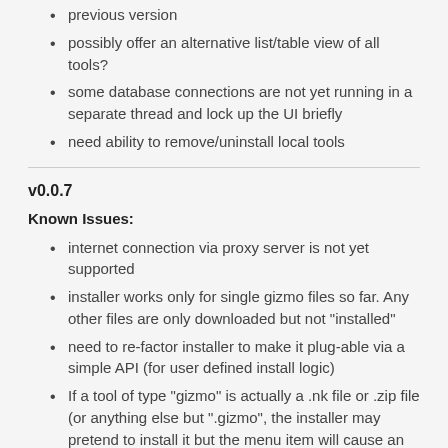previous version
possibly offer an alternative list/table view of all tools?
some database connections are not yet running in a separate thread and lock up the UI briefly
need ability to remove/uninstall local tools
v0.0.7
Known Issues:
internet connection via proxy server is not yet supported
installer works only for single gizmo files so far. Any other files are only downloaded but not "installed"
need to re-factor installer to make it plug-able via a simple API (for user defined install logic)
If a tool of type "gizmo" is actually a .nk file or .zip file (or anything else but ".gizmo", the installer may pretend to install it but the menu item will cause an error
detail page (click on tool button) needs to be more readable
need to show progress bar during file download (plugins and other larger files appear to freeze the UI during download)